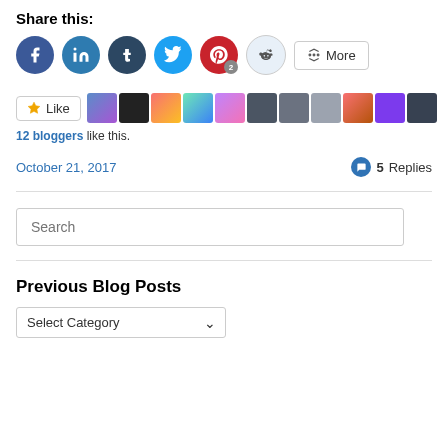Share this:
[Figure (infographic): Social sharing buttons: Facebook, LinkedIn, Tumblr, Twitter, Pinterest (with badge 2), Reddit, and a More button]
[Figure (infographic): Like button with star icon followed by a strip of 11 blogger avatar thumbnails]
12 bloggers like this.
October 21, 2017
5 Replies
[Figure (screenshot): Search input box with placeholder text 'Search']
Previous Blog Posts
[Figure (screenshot): Dropdown select box labeled 'Select Category' with a chevron arrow]